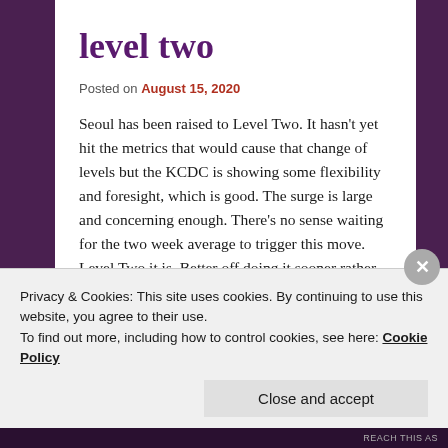level two
Posted on August 15, 2020
Seoul has been raised to Level Two. It hasn't yet hit the metrics that would cause that change of levels but the KCDC is showing some flexibility and foresight, which is good. The surge is large and concerning enough. There's no sense waiting for the two week average to trigger this move. Level Two it is. Better off doing it sooner rather than later. If we've learned anything, we've learned that much. The fastest and safest route is to just get started.
Privacy & Cookies: This site uses cookies. By continuing to use this website, you agree to their use. To find out more, including how to control cookies, see here: Cookie Policy
Close and accept